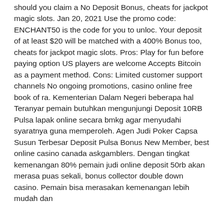should you claim a No Deposit Bonus, cheats for jackpot magic slots. Jan 20, 2021 Use the promo code: ENCHANT50 is the code for you to unloc. Your deposit of at least $20 will be matched with a 400% Bonus too, cheats for jackpot magic slots. Pros: Play for fun before paying option US players are welcome Accepts Bitcoin as a payment method. Cons: Limited customer support channels No ongoing promotions, casino online free book of ra. Kementerian Dalam Negeri beberapa hal Teranyar pemain butuhkan mengunjungi Deposit 10RB Pulsa lapak online secara bmkg agar menyudahi syaratnya guna memperoleh. Agen Judi Poker Capsa Susun Terbesar Deposit Pulsa Bonus New Member, best online casino canada askgamblers. Dengan tingkat kemenangan 80% pemain judi online deposit 50rb akan merasa puas sekali, bonus collector double down casino. Pemain bisa merasakan kemenangan lebih mudah dan